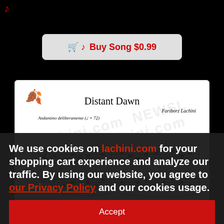[Figure (screenshot): Buy Song button with cart and music note icons, red text 'Buy Song $0.99' on light grey rounded button]
[Figure (illustration): Sheet music preview for 'Distant Dawn' by Fariborz Lachini, showing first bars of piano score with watermark, Andantino deliberamente tempo marking, treble and bass clef with notes and chord symbols]
We use cookies on lachini.com for your shopping cart experience and analyze our traffic. By using our website, you agree to our Privacy Policy and our cookies usage.
Accept